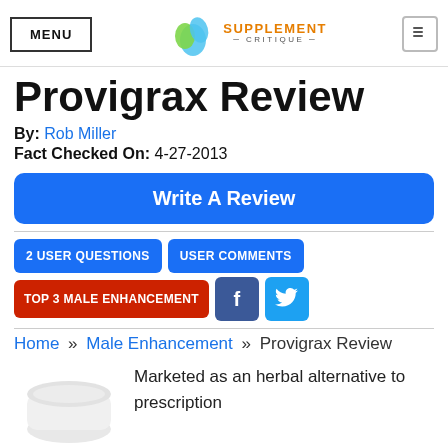MENU | Supplement Critique
Provigrax Review
By: Rob Miller
Fact Checked On: 4-27-2013
Write A Review
2 USER QUESTIONS | USER COMMENTS
TOP 3 MALE ENHANCEMENT
Home » Male Enhancement » Provigrax Review
Marketed as an herbal alternative to prescription